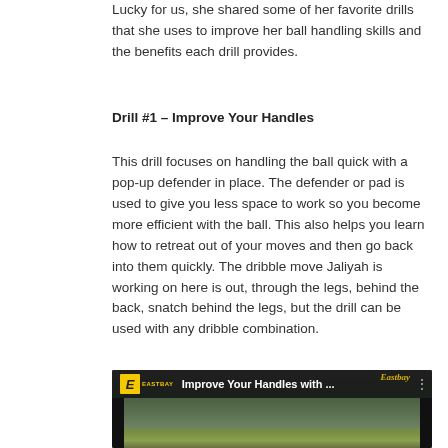Lucky for us, she shared some of her favorite drills that she uses to improve her ball handling skills and the benefits each drill provides.
Drill #1 – Improve Your Handles
This drill focuses on handling the ball quick with a pop-up defender in place. The defender or pad is used to give you less space to work so you become more efficient with the ball. This also helps you learn how to retreat out of your moves and then go back into them quickly. The dribble move Jaliyah is working on here is out, through the legs, behind the back, snatch behind the legs, but the drill can be used with any dribble combination.
[Figure (screenshot): Eastbay video thumbnail showing 'Improve Your Handles with ...' title with Eastbay logo and outdoor basketball court background scene]